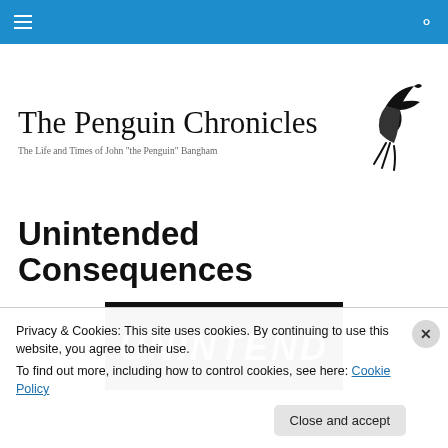Navigation bar with hamburger menu and search icon
The Penguin Chronicles
The Life and Times of John "the Penguin" Bangham
[Figure (illustration): Stylized flying bird logo in black ink strokes]
Unintended Consequences
[Figure (photo): Dark chalkboard image with handwritten text reading UNINTEND in chalk-style lettering]
Privacy & Cookies: This site uses cookies. By continuing to use this website, you agree to their use.
To find out more, including how to control cookies, see here: Cookie Policy
Close and accept